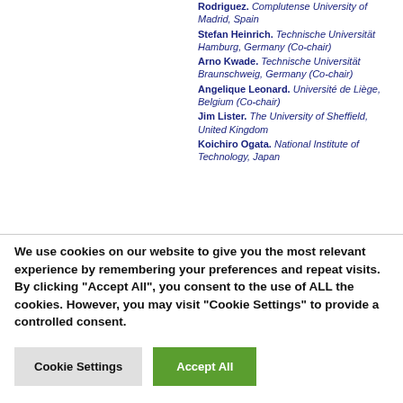Rodriguez. Complutense University of Madrid, Spain Stefan Heinrich. Technische Universität Hamburg, Germany (Co-chair) Arno Kwade. Technische Universität Braunschweig, Germany (Co-chair) Angelique Leonard. Université de Liège, Belgium (Co-chair) Jim Lister. The University of Sheffield, United Kingdom Koichiro Ogata. National Institute of Technology, Japan
We use cookies on our website to give you the most relevant experience by remembering your preferences and repeat visits. By clicking "Accept All", you consent to the use of ALL the cookies. However, you may visit "Cookie Settings" to provide a controlled consent.